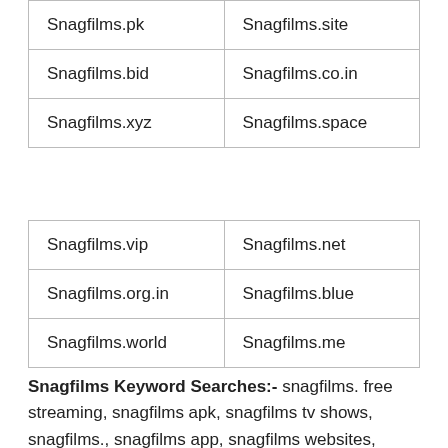| Snagfilms.pk | Snagfilms.site |
| Snagfilms.bid | Snagfilms.co.in |
| Snagfilms.xyz | Snagfilms.space |
| Snagfilms.vip | Snagfilms.net |
| Snagfilms.org.in | Snagfilms.blue |
| Snagfilms.world | Snagfilms.me |
Snagfilms Keyword Searches:- snagfilms. free streaming, snagfilms apk, snagfilms tv shows, snagfilms., snagfilms app, snagfilms websites,